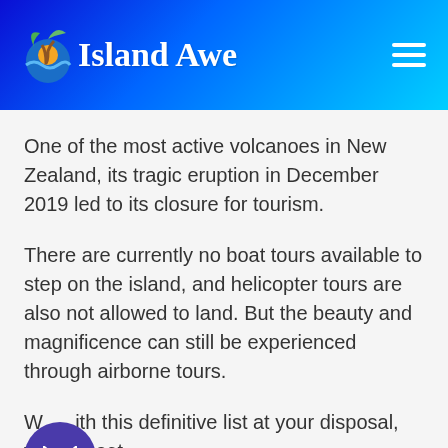Island Awe
One of the most active volcanoes in New Zealand, its tragic eruption in December 2019 led to its closure for tourism.
There are currently no boat tours available to step on the island, and helicopter tours are also not allowed to land. But the beauty and magnificence can still be experienced through airborne tours.
With this definitive list at your disposal, you are set to experience the mesmerizing, dangerous, and magnificent volcanoes in the Pacific. Now you know what volcano is best for you...